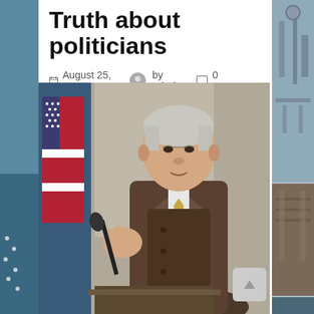Truth about politicians
August 25, 2018  by admin  0 Comments
[Figure (photo): Older white-haired man in brown suit with yellow tie speaking at a podium with a microphone; US flag visible in background]